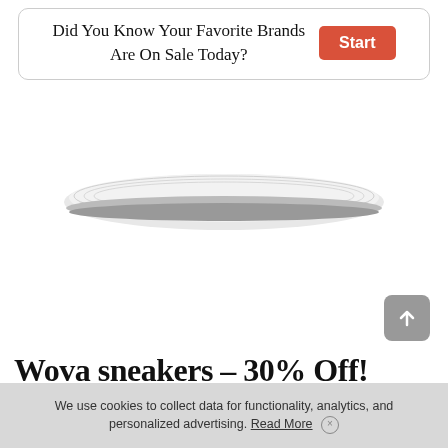Did You Know Your Favorite Brands Are On Sale Today? Start
[Figure (photo): Bottom sole of a white sneaker shoe]
[Figure (other): Scroll-to-top button with upward arrow icon]
Wova sneakers – 30% Off!
Stuart Weitzman
$409.00 $286.00
We use cookies to collect data for functionality, analytics, and personalized advertising. Read More ×